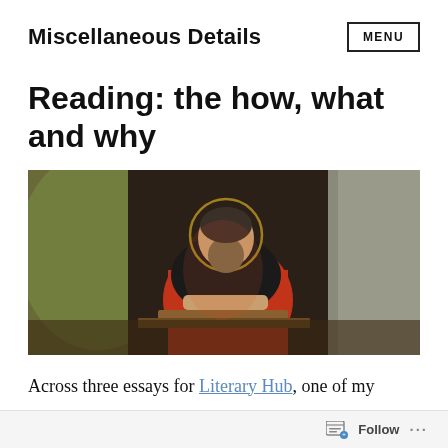Miscellaneous Details   MENU
Reading: the how, what and why
[Figure (photo): Classical painting of a bearded saint or scholar with halo, wearing red and black robes, reading or writing at a desk, with green drapery in the background.]
Across three essays for Literary Hub, one of my